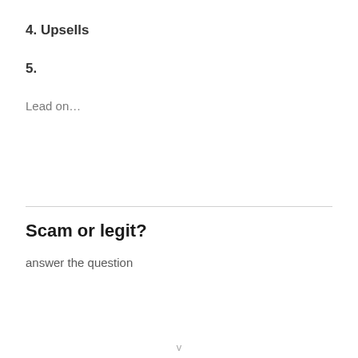4. Upsells
5.
Lead on…
Scam or legit?
answer the question